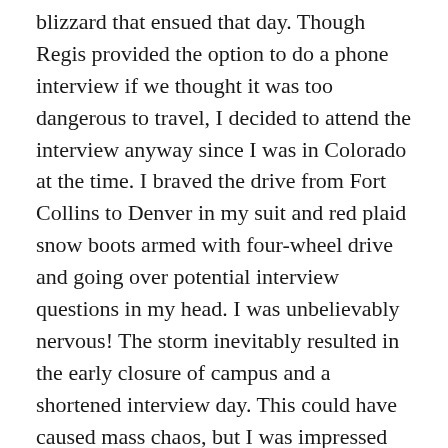blizzard that ensued that day. Though Regis provided the option to do a phone interview if we thought it was too dangerous to travel, I decided to attend the interview anyway since I was in Colorado at the time. I braved the drive from Fort Collins to Denver in my suit and red plaid snow boots armed with four-wheel drive and going over potential interview questions in my head. I was unbelievably nervous! The storm inevitably resulted in the early closure of campus and a shortened interview day. This could have caused mass chaos, but I was impressed by the adaptability of the Regis PT community to expedite the interview process without jeopardizing our time and experience. The organizers made sure every applicant had a fair chance regardless of the barrier Mother Nature concocted. They were able to calmly adapt to an unpredictable situation, which is a valuable skill in this field. Additionally, the current Regis